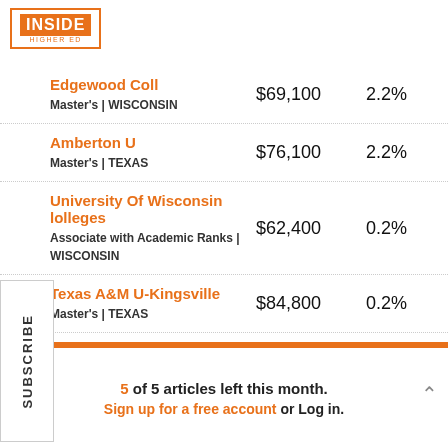[Figure (logo): Inside Higher Ed logo with orange border and orange INSIDE banner]
| Institution | Salary | Change |
| --- | --- | --- |
| Edgewood Coll
Master's | WISCONSIN | $69,100 | 2.2% |
| Amberton U
Master's | TEXAS | $76,100 | 2.2% |
| University Of Wisconsin Colleges
Associate with Academic Ranks | WISCONSIN | $62,400 | 0.2% |
| Texas A&M U-Kingsville
Master's | TEXAS | $84,800 | 0.2% |
5 of 5 articles left this month. Sign up for a free account or Log in.